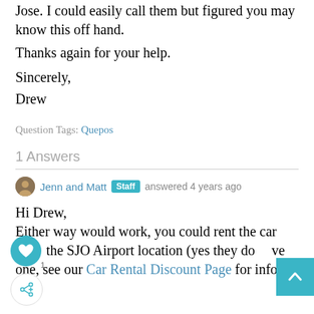Jose. I could easily call them but figured you may know this off hand.
Thanks again for your help.
Sincerely,
Drew
Question Tags: Quepos
1 Answers
Jenn and Matt  Staff  answered 4 years ago
Hi Drew,
Either way would work, you could rent the car from the SJO Airport location (yes they do have one, see our Car Rental Discount Page for info